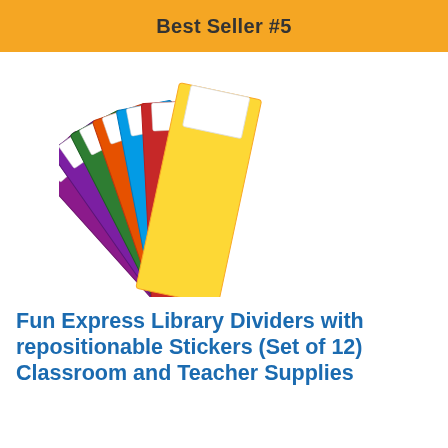Best Seller #5
[Figure (photo): Fan arrangement of colorful library dividers in purple, green, orange, blue, red, and yellow colors, each with a white label tab at the top.]
Fun Express Library Dividers with repositionable Stickers (Set of 12) Classroom and Teacher Supplies